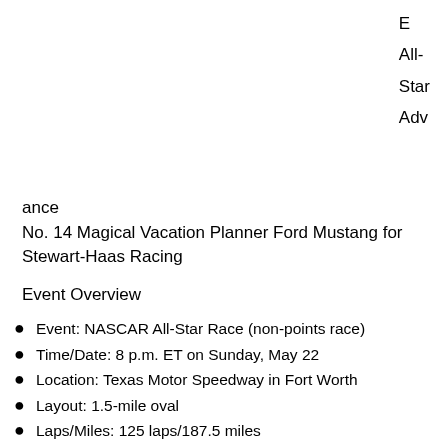E All-Star Advance
No. 14 Magical Vacation Planner Ford Mustang for Stewart-Haas Racing
Event Overview
Event: NASCAR All-Star Race (non-points race)
Time/Date: 8 p.m. ET on Sunday, May 22
Location: Texas Motor Speedway in Fort Worth
Layout: 1.5-mile oval
Laps/Miles: 125 laps/187.5 miles